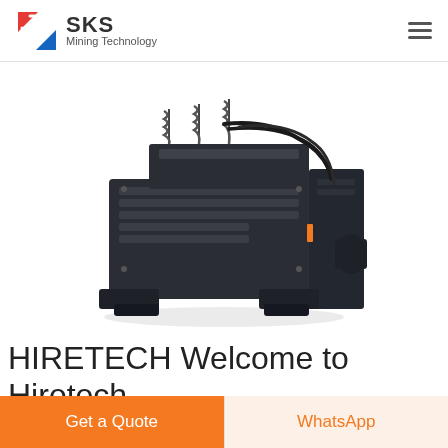SKS Mining Technology
[Figure (photo): Industrial mining machine / impact crusher, dark gray metal heavy equipment with hydraulic hoses and spring mechanisms on top, photographed on white background]
HIRETECH Welcome to Hiretech
Get a Quote
WhatsApp